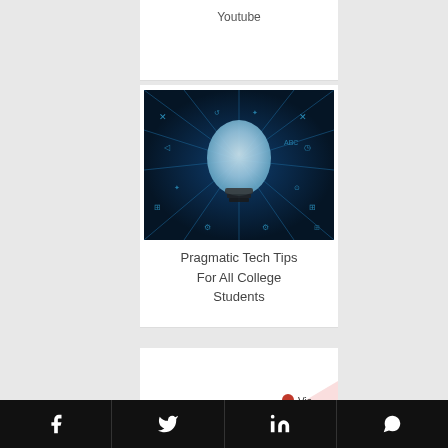Youtube
[Figure (photo): Lightbulb surrounded by education and technology icons on dark blue background — illustration for Pragmatic Tech Tips For All College Students]
Pragmatic Tech Tips For All College Students
[Figure (scatter-plot): Partial scatter plot showing labeled points: 'Current', 'GAP', and 'Vis' along a diagonal pink/salmon shaded band, suggesting a progression or gap analysis chart]
Facebook | Twitter | LinkedIn | WhatsApp